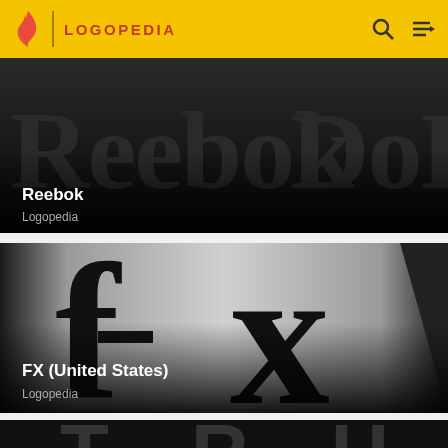LOGOPEDIA
[Figure (logo): Reebok logo banner on dark background with large text 'Reebok' and 'DoKh' visible]
Reebok
Logopedia
[Figure (logo): FX (United States) logo on gradient dark background showing stylized 'fx' letters]
FX (United States)
Logopedia
[Figure (logo): Partial view of another logo on black background at bottom of page]